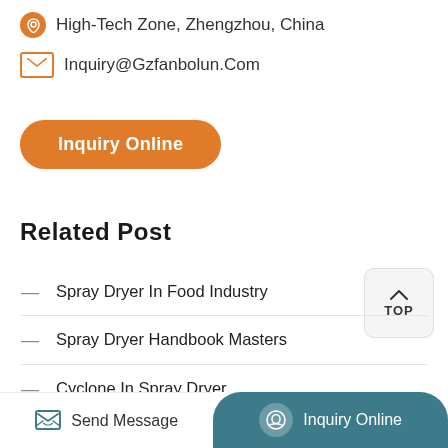High-Tech Zone, Zhengzhou, China
Inquiry@Gzfanbolun.Com
Inquiry Online
Related Post
Spray Dryer In Food Industry
Spray Dryer Handbook Masters
Cyclone In Spray Dryer
How Spray Dryer Joints
Spray Dryer Fines Return
Send Message   Inquiry Online